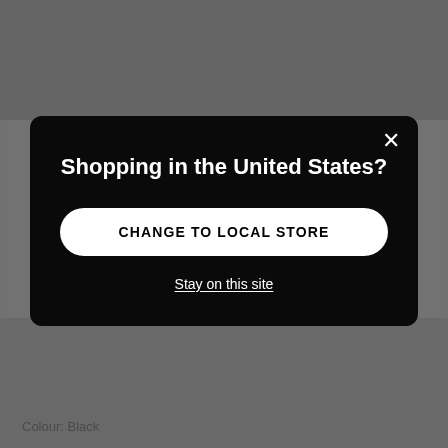[Figure (screenshot): Blurred e-commerce website background with dark overlay and modal dialog]
Shopping in the United States?
CHANGE TO LOCAL STORE
Stay on this site
Colour: Black